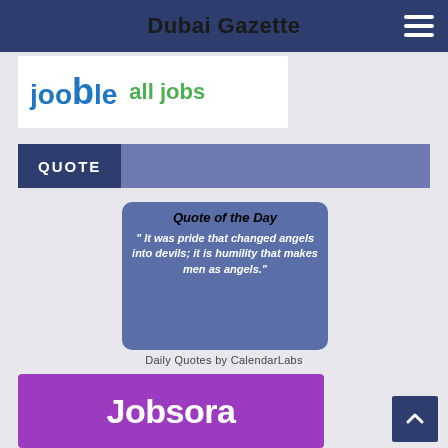Dubai Gazette
[Figure (logo): Jooble all jobs banner logo on white background]
QUOTE
[Figure (infographic): Quote of the Day card with blue background. Text: " It was pride that changed angels into devils; it is humility that makes men as angels."]
Daily Quotes by CalendarLabs
[Figure (logo): Jobsora logo on purple background]
[Figure (other): Back to top button with upward arrow]